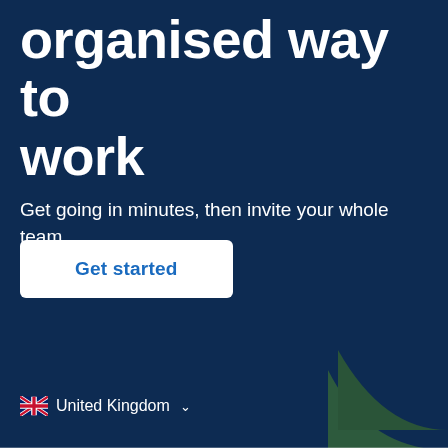organised way to work
Get going in minutes, then invite your whole team.
Get started
[Figure (illustration): Dark green arc/hill shape visible at lower right corner of the page]
United Kingdom ∨